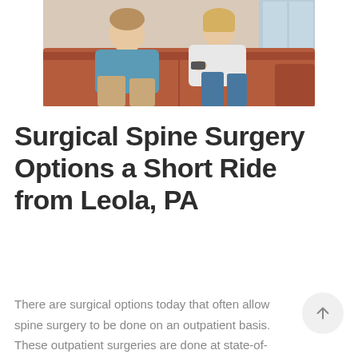[Figure (photo): Two people, a man in a teal shirt and a woman in a white top, sitting on a red/brown leather couch, appearing to be in conversation.]
Surgical Spine Surgery Options a Short Ride from Leola, PA
There are surgical options today that often allow spine surgery to be done on an outpatient basis. These outpatient surgeries are done at state-of-the-art surgical facilities. Patients find